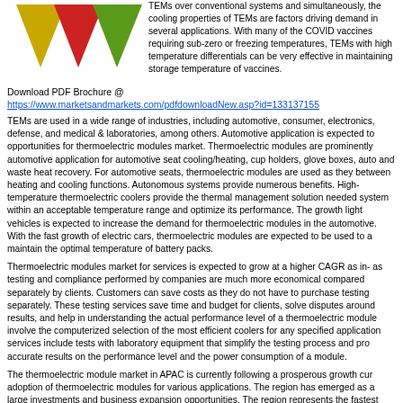[Figure (illustration): Three downward-pointing triangles in yellow/gold, red, and green colors arranged side by side]
TEMs over conventional systems and simultaneously, the cooling properties of TEMs are factors driving demand in several applications. With many of the COVID vaccines requiring sub-zero or freezing temperatures, TEMs with high temperature differentials can be very effective in maintaining storage temperature of vaccines.
Download PDF Brochure @
https://www.marketsandmarkets.com/pdfdownloadNew.asp?id=133137155
TEMs are used in a wide range of industries, including automotive, consumer, electronics, defense, and medical & laboratories, among others. Automotive application is expected to opportunities for thermoelectric modules market. Thermoelectric modules are prominently automotive application for automotive seat cooling/heating, cup holders, glove boxes, auto and waste heat recovery. For automotive seats, thermoelectric modules are used as they between heating and cooling functions. Autonomous systems provide numerous benefits. High-temperature thermoelectric coolers provide the thermal management solution needed system within an acceptable temperature range and optimize its performance. The growth light vehicles is expected to increase the demand for thermoelectric modules in the automotive. With the fast growth of electric cars, thermoelectric modules are expected to be used to a maintain the optimal temperature of battery packs.
Thermoelectric modules market for services is expected to grow at a higher CAGR as in- as testing and compliance performed by companies are much more economical compared separately by clients. Customers can save costs as they do not have to purchase testing separately. These testing services save time and budget for clients, solve disputes around results, and help in understanding the actual performance level of a thermoelectric module involve the computerized selection of the most efficient coolers for any specified applications services include tests with laboratory equipment that simplify the testing process and pro accurate results on the performance level and the power consumption of a module.
The thermoelectric module market in APAC is currently following a prosperous growth cur adoption of thermoelectric modules for various applications. The region has emerged as a large investments and business expansion opportunities. The region represents the fastest worldwide for thermoelectric modules. The increased demand for waste heat recovery, co industrial automation, and healthcare monitoring devices is expected to drive this market growth of the market in China is mainly driven by the consumer electronics market, as it